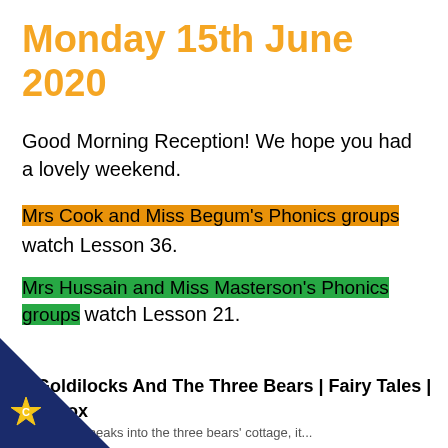Monday 15th June 2020
Good Morning Reception! We hope you had a lovely weekend.
Mrs Cook and Miss Begum's Phonics groups watch Lesson 36.
Mrs Hussain and Miss Masterson's Phonics groups watch Lesson 21.
Goldilocks And The Three Bears | Fairy Tales | Storylbox